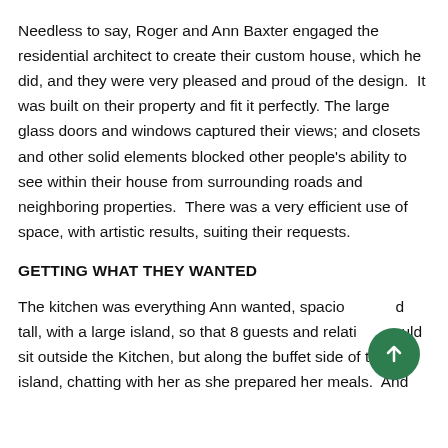Needless to say, Roger and Ann Baxter engaged the residential architect to create their custom house, which he did, and they were very pleased and proud of the design.  It was built on their property and fit it perfectly. The large glass doors and windows captured their views; and closets and other solid elements blocked other people's ability to see within their house from surrounding roads and neighboring properties.  There was a very efficient use of space, with artistic results, suiting their requests.
GETTING WHAT THEY WANTED
The kitchen was everything Ann wanted, spacious and tall, with a large island, so that 8 guests and relatives could sit outside the Kitchen, but along the buffet side of the island, chatting with her as she prepared her meals.  And